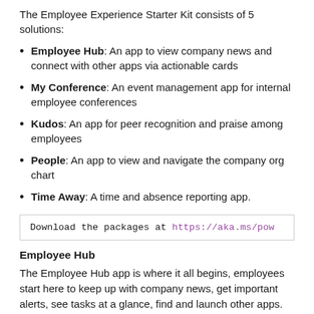The Employee Experience Starter Kit consists of 5 solutions:
Employee Hub: An app to view company news and connect with other apps via actionable cards
My Conference: An event management app for internal employee conferences
Kudos: An app for peer recognition and praise among employees
People: An app to view and navigate the company org chart
Time Away: A time and absence reporting app.
Download the packages at https://aka.ms/po…
Employee Hub
The Employee Hub app is where it all begins, employees start here to keep up with company news, get important alerts, see tasks at a glance, find and launch other apps.